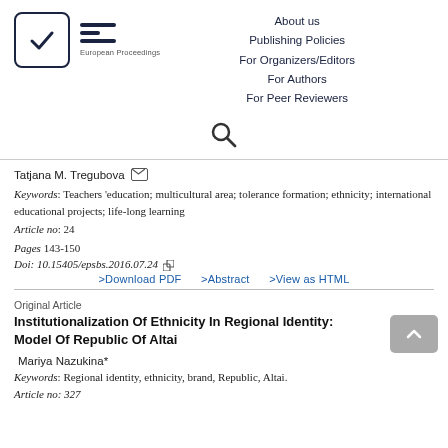[Figure (logo): European Proceedings logo with checkmark in rounded square and EP symbol with horizontal lines]
About us
Publishing Policies
For Organizers/Editors
For Authors
For Peer Reviewers
[Figure (other): Search icon (magnifying glass)]
Tatjana M. Tregubova
Keywords: Teachers 'education; multicultural area; tolerance formation; ethnicity; international educational projects; life-long learning
Article no: 24
Pages 143-150
Doi: 10.15405/epsbs.2016.07.24
>Download PDF     >Abstract     >View as HTML
Original Article
Institutionalization Of Ethnicity In Regional Identity: Model Of Republic Of Altai
Mariya Nazukina*
Keywords: Regional identity, ethnicity, brand, Republic, Altai.
Article no: 327